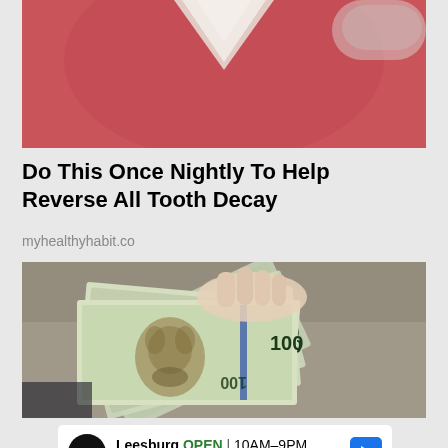[Figure (photo): Close-up of pink/red leather or gum tissue with a white V-shaped tooth or dental element visible at the top center]
Do This Once Nightly To Help Reverse All Tooth Decay
myhealthyhabit.co
[Figure (photo): A hand holding a fan of US $100 dollar bills, outdoor background]
Leesburg OPEN | 10AM-9PM 241 Fort Evans Rd NE, Leesburg